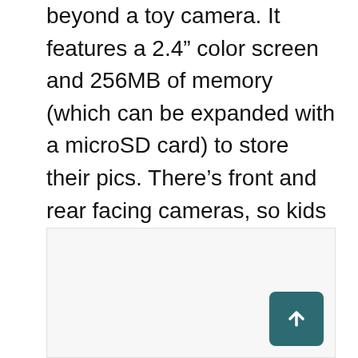beyond a toy camera. It features a 2.4" color screen and 256MB of memory (which can be expanded with a microSD card) to store their pics. There's front and rear facing cameras, so kids can easily take those lovable selfies. You can even record video or voices (with fun voice changing effects!) and add frames, stamps and silly stickers to photos.
[Figure (other): A light gray rectangular image placeholder box with a dark teal scroll-to-top button (upward arrow icon) in the bottom-right corner.]